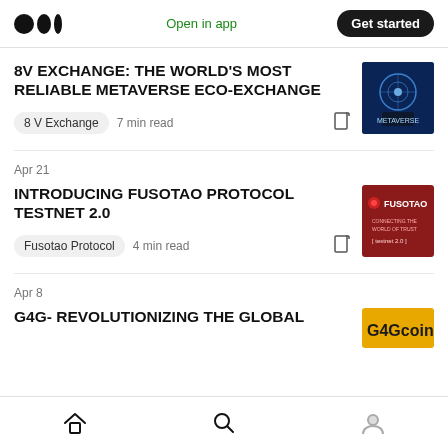Medium — Open in app | Get started
8V EXCHANGE: THE WORLD'S MOST RELIABLE METAVERSE ECO-EXCHANGE
8 V Exchange · 7 min read
Apr 21
INTRODUCING FUSOTAO PROTOCOL TESTNET 2.0
Fusotao Protocol · 4 min read
Apr 8
G4G- REVOLUTIONIZING THE GLOBAL
Home | Search | Profile